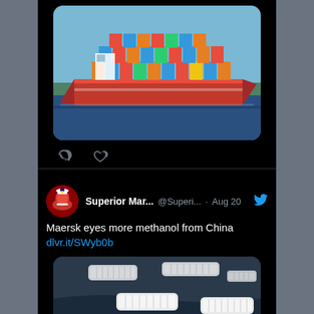[Figure (photo): Container ship with red hull and stacked colorful shipping containers, seen from the side on open water with trees in background. Screenshot from a Twitter/X mobile app, dark mode.]
[Figure (photo): Aerial view of multiple white Maersk container barges on dark water, of varying sizes arranged across the frame.]
Superior Mar... @Superi... · Aug 20
Maersk eyes more methanol from China
dlvr.it/SWyb0b